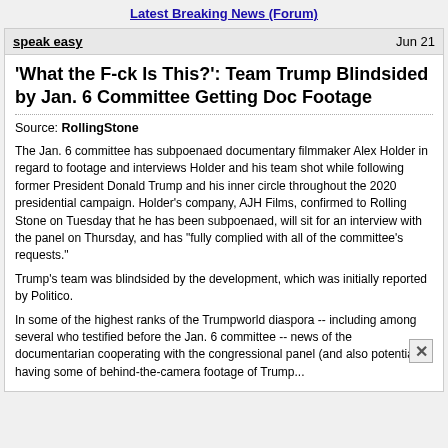Latest Breaking News (Forum)
speak easy   Jun 21
'What the F-ck Is This?': Team Trump Blindsided by Jan. 6 Committee Getting Doc Footage
Source: RollingStone
The Jan. 6 committee has subpoenaed documentary filmmaker Alex Holder in regard to footage and interviews Holder and his team shot while following former President Donald Trump and his inner circle throughout the 2020 presidential campaign. Holder's company, AJH Films, confirmed to Rolling Stone on Tuesday that he has been subpoenaed, will sit for an interview with the panel on Thursday, and has "fully complied with all of the committee's requests."
Trump's team was blindsided by the development, which was initially reported by Politico.
In some of the highest ranks of the Trumpworld diaspora -- including among several who testified before the Jan. 6 committee -- news of the documentarian cooperating with the congressional panel (and also potentially having some of behind-the-camera footage of Trump...